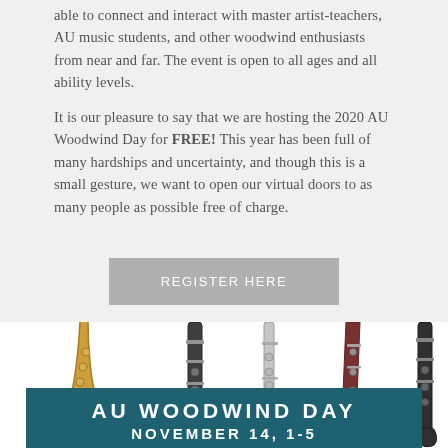able to connect and interact with master artist-teachers, AU music students, and other woodwind enthusiasts from near and far. The event is open to all ages and all ability levels.
It is our pleasure to say that we are hosting the 2020 AU Woodwind Day for FREE! This year has been full of many hardships and uncertainty, and though this is a small gesture, we want to open our virtual doors to as many people as possible free of charge.
REGISTER HERE
[Figure (photo): Photograph of multiple woodwind instruments standing upright: saxophone, clarinet, flute, bassoon, and another clarinet against a white background.]
AU WOODWIND DAY NOVEMBER 14, 1-5